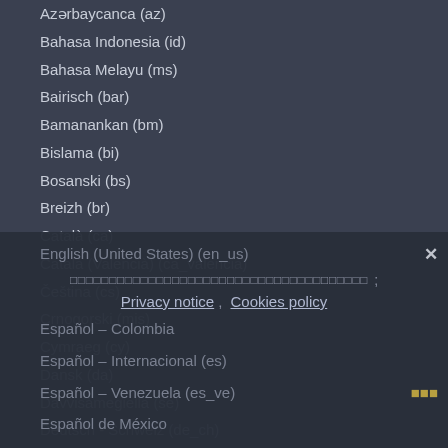Azərbaycanca (az)
Bahasa Indonesia (id)
Bahasa Melayu (ms)
Bairisch (bar)
Bamanankan (bm)
Bislama (bi)
Bosanski (bs)
Breizh (br)
Català (ca)
Català (Valencià) (ca_valencia)
Čeština (cs)
Crnogorski (mis)
Cymraeg (cy)
Dansk (da)
Davvisámegiella (se)
Deutsch - Schweiz (de_ch)
Deutsch (de)
Dolnoserbski (dsb)
Ebon (mh)
eesti (et)
English (en)
English (United States) (en_us)
Español - Colombia
Español - Internacional (es)
Español - Venezuela (es_ve)
Español de México
Privacy notice, Cookies policy